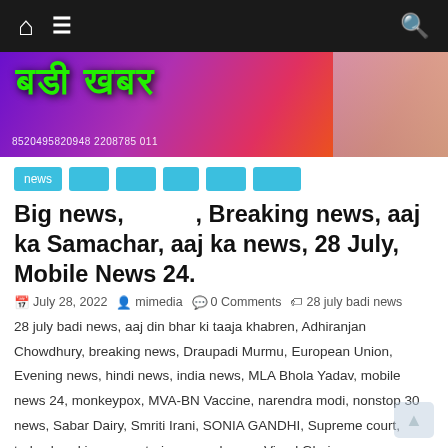Navigation bar with home icon, menu icon, and search icon
[Figure (photo): Colorful banner image with Hindi text in green on purple/pink gradient background, phone numbers at bottom, figure of person on right side]
news (and 5 other category tags in light blue)
Big news, , Breaking news, aaj ka Samachar, aaj ka news, 28 July, Mobile News 24.
July 28, 2022   mimedia   0 Comments   28 july badi news, aaj din bhar ki taaja khabren, Adhiranjan Chowdhury, breaking news, Draupadi Murmu, European Union, Evening news, hindi news, india news, MLA Bhola Yadav, mobile news 24, monkeypox, MVA-BN Vaccine, narendra modi, nonstop 30 news, Sabar Dairy, Smriti Irani, SONIA GANDHI, Supreme court, today breaking news, train me snake, up, Vinod Ghai,